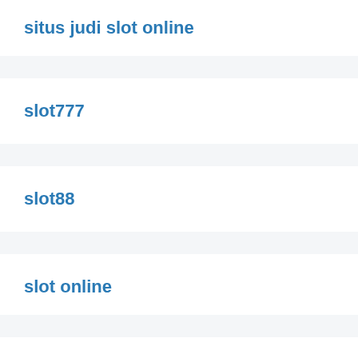situs judi slot online
slot777
slot88
slot online
bandarqq